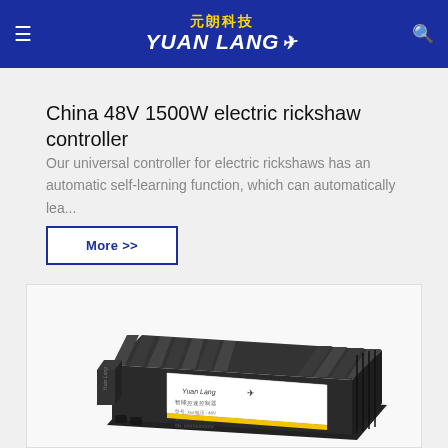元朗科技 YUAN LANG
China 48V 1500W electric rickshaw controller
Our universal controller for electric rickshaws has an automatic self-learning function, which can automatically lea...
More >>
[Figure (photo): Photo of a black Yuan Lang electric motor controller with heat sink fins and a label, positioned at an angle showing a product sticker with specifications.]